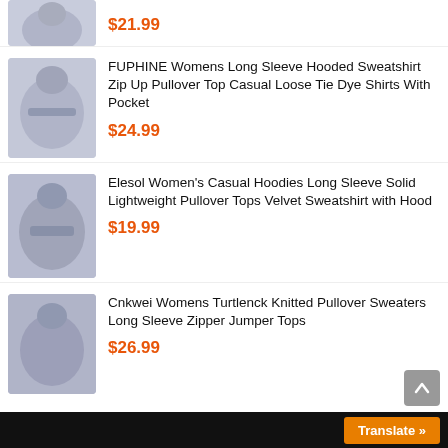[Figure (photo): Partial product image at top, cropped, showing a jacket/sweatshirt]
$21.99
[Figure (photo): FUPHINE womens hooded sweatshirt product image]
FUPHINE Womens Long Sleeve Hooded Sweatshirt Zip Up Pullover Top Casual Loose Tie Dye Shirts With Pocket
$24.99
[Figure (photo): Elesol women's hoodie product image]
Elesol Women's Casual Hoodies Long Sleeve Solid Lightweight Pullover Tops Velvet Sweatshirt with Hood
$19.99
[Figure (photo): Cnkwei womens turtleneck sweater product image]
Cnkwei Womens Turtlenck Knitted Pullover Sweaters Long Sleeve Zipper Jumper Tops
$26.99
Translate »